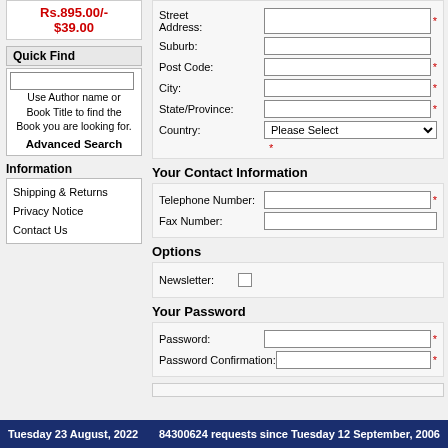Rs.895.00/- $39.00
Quick Find
Use Author name or Book Title to find the Book you are looking for.
Advanced Search
Information
Shipping & Returns
Privacy Notice
Contact Us
Street Address:
Suburb:
Post Code:
City:
State/Province:
Country: Please Select
Your Contact Information
Telephone Number:
Fax Number:
Options
Newsletter:
Your Password
Password:
Password Confirmation:
Tuesday 23 August, 2022   84300624 requests since Tuesday 12 September, 2006